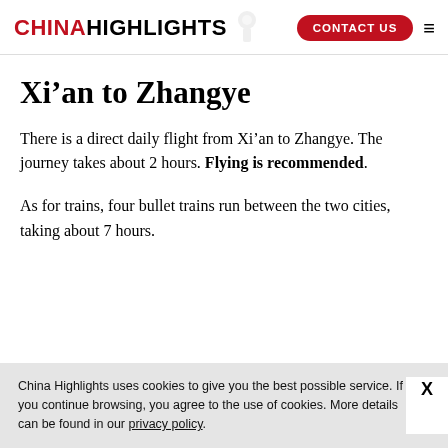CHINA HIGHLIGHTS | CONTACT US
Xi’an to Zhangye
There is a direct daily flight from Xi’an to Zhangye. The journey takes about 2 hours. Flying is recommended.
As for trains, four bullet trains run between the two cities, taking about 7 hours.
China Highlights uses cookies to give you the best possible service. If you continue browsing, you agree to the use of cookies. More details can be found in our privacy policy.